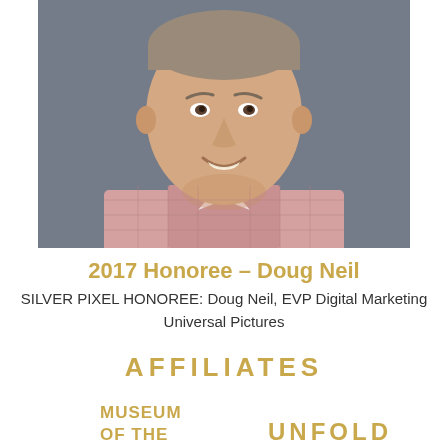[Figure (photo): Portrait photo of a middle-aged man smiling, wearing a pink checkered shirt, against a gray background.]
2017 Honoree – Doug Neil
SILVER PIXEL HONOREE: Doug Neil, EVP Digital Marketing Universal Pictures
AFFILIATES
[Figure (logo): Museum of the Moving Image logo in gold/tan color]
[Figure (logo): UNFOLD logo in gold/tan color with partial text visible]